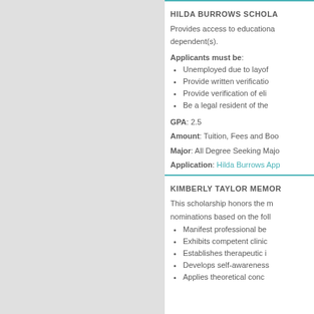HILDA BURROWS SCHOLA...
Provides access to educationa... dependent(s).
Applicants must be:
Unemployed due to layof...
Provide written verificatio...
Provide verification of eli...
Be a legal resident of the...
GPA: 2.5
Amount: Tuition, Fees and Boo...
Major: All Degree Seeking Majo...
Application: Hilda Burrows App...
KIMBERLY TAYLOR MEMOR...
This scholarship honors the m... nominations based on the foll...
Manifest professional be...
Exhibits competent clinic...
Establishes therapeutic i...
Develops self-awareness...
Applies theoretical conc...